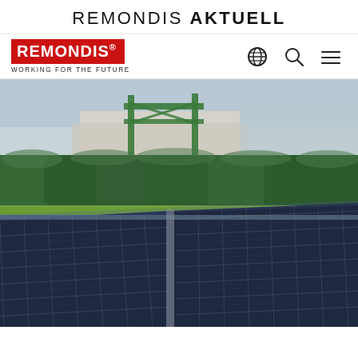REMONDIS AKTUELL
[Figure (logo): REMONDIS logo in red box with registered trademark symbol, tagline WORKING FOR THE FUTURE, navigation icons (globe, search, menu)]
[Figure (photo): Outdoor solar panel installation with rows of photovoltaic panels in foreground, trimmed green hedge in background, industrial structure with green frame visible behind hedge, clear sky]